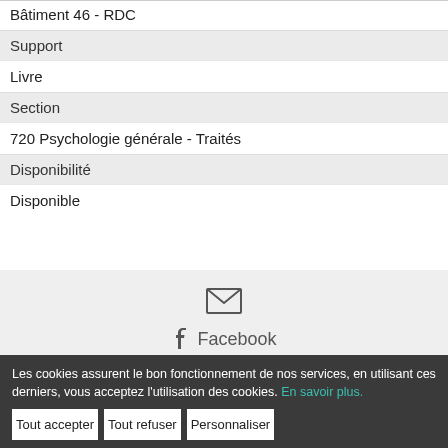Bâtiment 46 - RDC
Support
Livre
Section
720 Psychologie générale - Traités
Disponibilité
Disponible
[Figure (other): Share section with email icon, Facebook and Twitter social sharing links]
Les cookies assurent le bon fonctionnement de nos services, en utilisant ces derniers, vous acceptez l'utilisation des cookies. En savoir plus.
Tout accepter
Tout refuser
Personnaliser